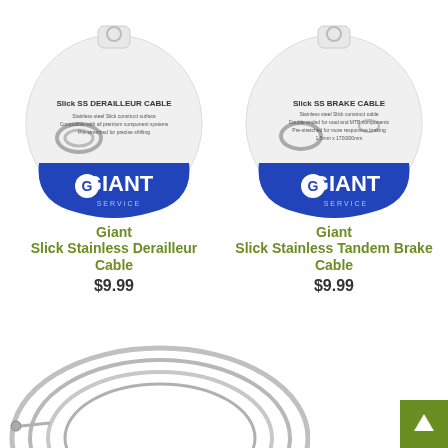[Figure (photo): Giant Slick SS Derailleur Cable product in circular white and blue packaging with hanger]
Giant
Slick Stainless Derailleur Cable
$9.99
[Figure (photo): Giant Slick SS Brake Cable product in circular white and blue packaging with hanger]
Giant
Slick Stainless Tandem Brake Cable
$9.99
[Figure (photo): Coiled silver stainless steel cable partially visible at bottom of page]
[Figure (other): Green upward arrow button in bottom right corner]